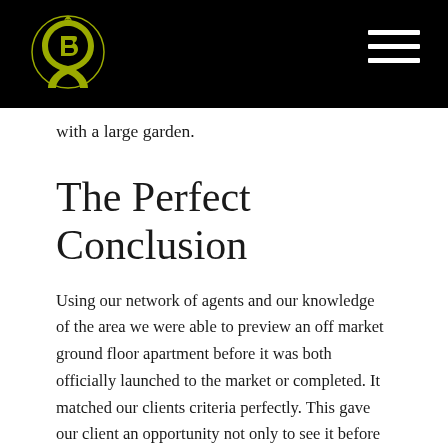with a large garden.
The Perfect Conclusion
Using our network of agents and our knowledge of the area we were able to preview an off market ground floor apartment before it was both officially launched to the market or completed. It matched our clients criteria perfectly. This gave our client an opportunity not only to see it before other buyers but also to have some input in the finishes. We were able to secure the flat £50,000 below the asking price at a highly competitive £752 per sq. foot. The going rate in the area for similar properties can be in excess of £875 per sq. foot.